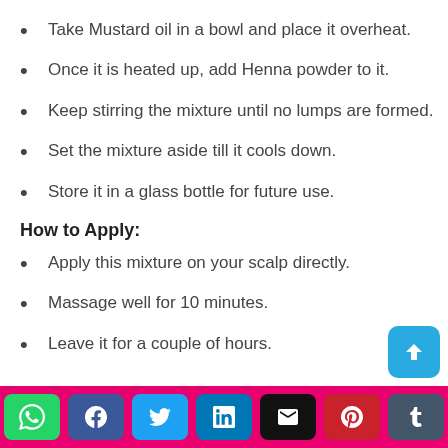Take Mustard oil in a bowl and place it overheat.
Once it is heated up, add Henna powder to it.
Keep stirring the mixture until no lumps are formed.
Set the mixture aside till it cools down.
Store it in a glass bottle for future use.
How to Apply:
Apply this mixture on your scalp directly.
Massage well for 10 minutes.
Leave it for a couple of hours.